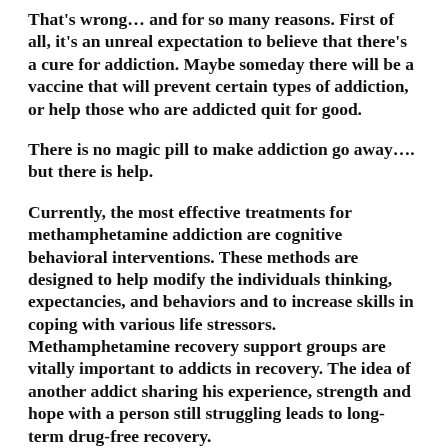That's wrong… and for so many reasons. First of all, it's an unreal expectation to believe that there's a cure for addiction. Maybe someday there will be a vaccine that will prevent certain types of addiction, or help those who are addicted quit for good.
There is no magic pill to make addiction go away…. but there is help.
Currently, the most effective treatments for methamphetamine addiction are cognitive behavioral interventions. These methods are designed to help modify the individuals thinking, expectancies, and behaviors and to increase skills in coping with various life stressors. Methamphetamine recovery support groups are vitally important to addicts in recovery. The idea of another addict sharing his experience, strength and hope with a person still struggling leads to long-term drug-free recovery.